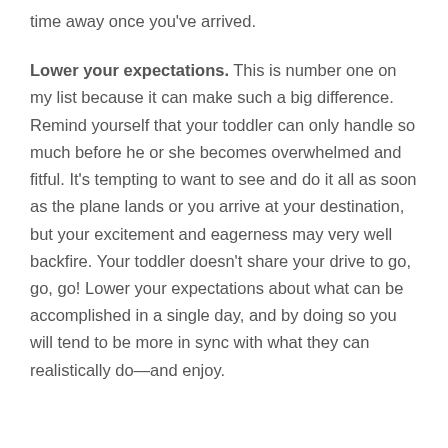time away once you've arrived.
Lower your expectations. This is number one on my list because it can make such a big difference. Remind yourself that your toddler can only handle so much before he or she becomes overwhelmed and fitful. It's tempting to want to see and do it all as soon as the plane lands or you arrive at your destination, but your excitement and eagerness may very well backfire. Your toddler doesn't share your drive to go, go, go! Lower your expectations about what can be accomplished in a single day, and by doing so you will tend to be more in sync with what they can realistically do—and enjoy.